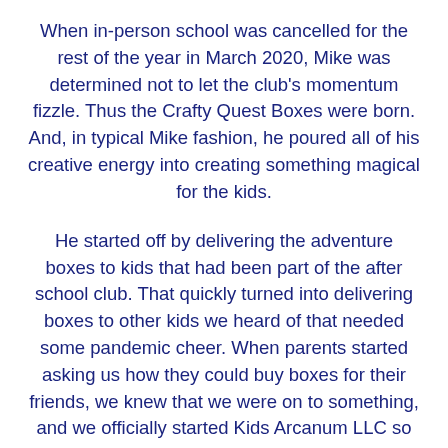When in-person school was cancelled for the rest of the year in March 2020, Mike was determined not to let the club's momentum fizzle. Thus the Crafty Quest Boxes were born. And, in typical Mike fashion, he poured all of his creative energy into creating something magical for the kids.
He started off by delivering the adventure boxes to kids that had been part of the after school club. That quickly turned into delivering boxes to other kids we heard of that needed some pandemic cheer. When parents started asking us how they could buy boxes for their friends, we knew that we were on to something, and we officially started Kids Arcanum LLC so that we could